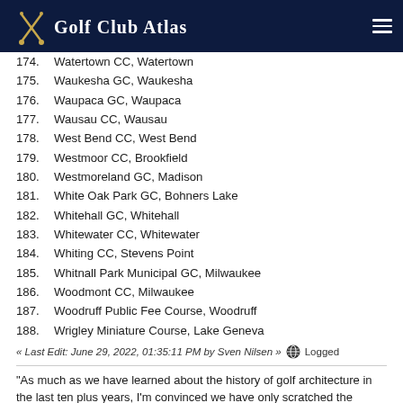Golf Club Atlas
174. Watertown CC, Watertown
175. Waukesha GC, Waukesha
176. Waupaca GC, Waupaca
177. Wausau CC, Wausau
178. West Bend CC, West Bend
179. Westmoor CC, Brookfield
180. Westmoreland GC, Madison
181. White Oak Park GC, Bohners Lake
182. Whitehall GC, Whitehall
183. Whitewater CC, Whitewater
184. Whiting CC, Stevens Point
185. Whitnall Park Municipal GC, Milwaukee
186. Woodmont CC, Milwaukee
187. Woodruff Public Fee Course, Woodruff
188. Wrigley Miniature Course, Lake Geneva
« Last Edit: June 29, 2022, 01:35:11 PM by Sven Nilsen » Logged
"As much as we have learned about the history of golf architecture in the last ten plus years, I'm convinced we have only scratched the surface." A GCA Poster